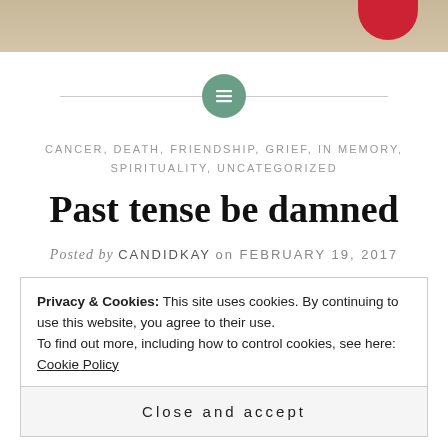[Figure (photo): Top strip showing a wooden surface background with a red decorative object partially visible at the top right corner.]
CANCER, DEATH, FRIENDSHIP, GRIEF, IN MEMORY, SPIRITUALITY, UNCATEGORIZED
Past tense be damned
Posted by CANDIDKAY on FEBRUARY 19, 2017
Privacy & Cookies: This site uses cookies. By continuing to use this website, you agree to their use.
To find out more, including how to control cookies, see here: Cookie Policy
Close and accept